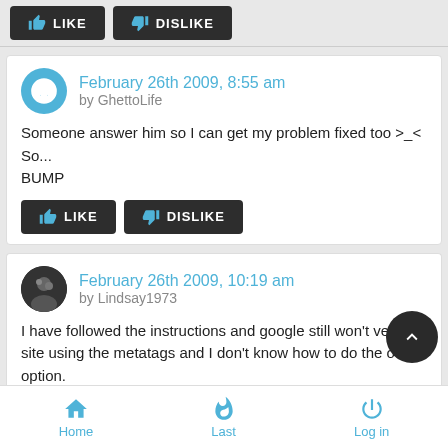[Figure (screenshot): Like and Dislike buttons at top of page]
February 26th 2009, 8:55 am
by GhettoLife

Someone answer him so I can get my problem fixed too >_<
So...
BUMP
[Figure (screenshot): Like and Dislike buttons below first comment]
February 26th 2009, 10:19 am
by Lindsay1973

I have followed the instructions and google still won't verify site using the metatags and I don't know how to do the other option.
Home  Last  Log in